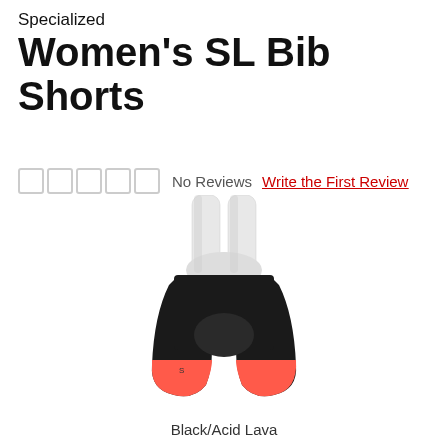Specialized
Women's SL Bib Shorts
No Reviews  Write the First Review
[Figure (photo): Women's cycling bib shorts in black with coral/acid lava leg band, white bib straps, shown on white background.]
Black/Acid Lava